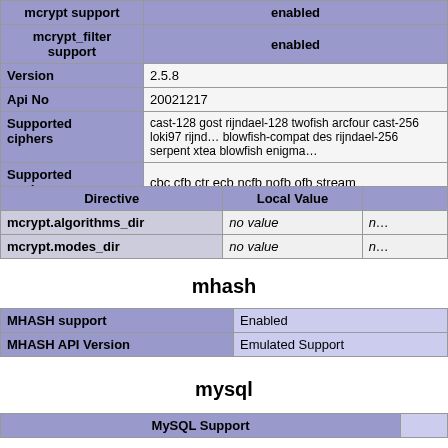| mcrypt support | enabled |
| mcrypt_filter support | enabled |
| Version | 2.5.8 |
| Api No | 20021217 |
| Supported ciphers | cast-128 gost rijndael-128 twofish arcfour cast-256 loki97 rijnd… blowfish-compat des rijndael-256 serpent xtea blowfish enigma… |
| Supported modes | cbc cfb ctr ecb ncfb nofb ofb stream |
| Directive | Local Value |  |
| --- | --- | --- |
| mcrypt.algorithms_dir | no value | n… |
| mcrypt.modes_dir | no value | n… |
mhash
| MHASH support | Enabled |
| MHASH API Version | Emulated Support |
mysql
| MySQL Support |  |